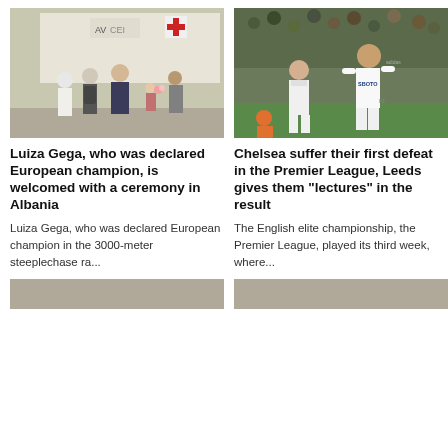[Figure (photo): People standing outside near a bus/vehicle with a red cross logo. A man in a suit greets others, a child holds flowers.]
[Figure (photo): Leeds United football players in white kits with SBOTO sponsor celebrating, crowd in background.]
Luiza Gega, who was declared European champion, is welcomed with a ceremony in Albania
Chelsea suffer their first defeat in the Premier League, Leeds gives them "lectures" in the result
Luiza Gega, who was declared European champion in the 3000-meter steeplechase ra...
The English elite championship, the Premier League, played its third week, where...
[Figure (photo): Partial bottom image strip left]
[Figure (photo): Partial bottom image strip right]